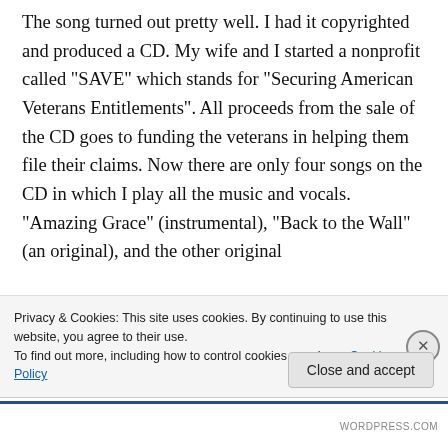The song turned out pretty well. I had it copyrighted and produced a CD. My wife and I started a nonprofit called "SAVE" which stands for "Securing American Veterans Entitlements". All proceeds from the sale of the CD goes to funding the veterans in helping them file their claims. Now there are only four songs on the CD in which I play all the music and vocals. "Amazing Grace" (instrumental), "Back to the Wall" (an original), and the other original
Privacy & Cookies: This site uses cookies. By continuing to use this website, you agree to their use.
To find out more, including how to control cookies, see here: Cookie Policy
Close and accept